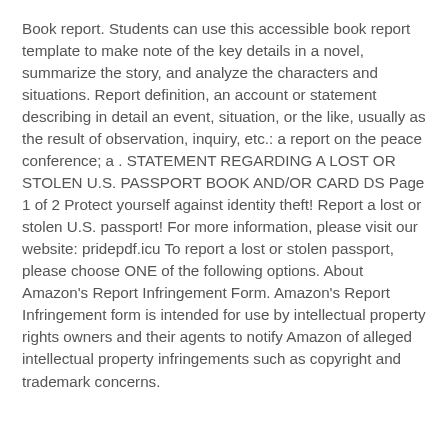Book report. Students can use this accessible book report template to make note of the key details in a novel, summarize the story, and analyze the characters and situations. Report definition, an account or statement describing in detail an event, situation, or the like, usually as the result of observation, inquiry, etc.: a report on the peace conference; a . STATEMENT REGARDING A LOST OR STOLEN U.S. PASSPORT BOOK AND/OR CARD DS Page 1 of 2 Protect yourself against identity theft! Report a lost or stolen U.S. passport! For more information, please visit our website: pridepdf.icu To report a lost or stolen passport, please choose ONE of the following options. About Amazon's Report Infringement Form. Amazon's Report Infringement form is intended for use by intellectual property rights owners and their agents to notify Amazon of alleged intellectual property infringements such as copyright and trademark concerns.